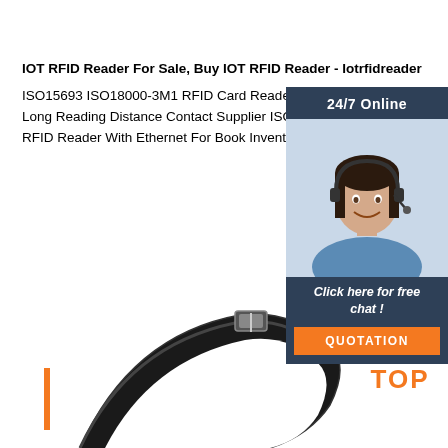IOT RFID Reader For Sale, Buy IOT RFID Reader - Iotrfidreader
ISO15693 ISO18000-3M1 RFID Card Reader HF R... Long Reading Distance Contact Supplier ISO15693... RFID Reader With Ethernet For Book Inventory
Get Price
[Figure (photo): Customer service representative woman with headset smiling, shown in a dark blue chat widget panel with '24/7 Online' header, 'Click here for free chat!' text, and orange QUOTATION button]
[Figure (photo): Close-up of a black wristband/bracelet product against white background]
[Figure (logo): Orange TOP badge with dots above forming a triangle/crown shape]